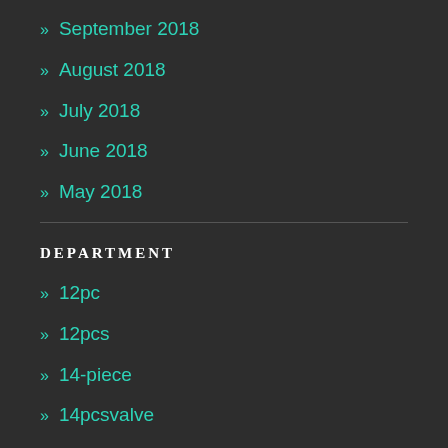» September 2018
» August 2018
» July 2018
» June 2018
» May 2018
DEPARTMENT
» 12pc
» 12pcs
» 14-piece
» 14pcsvalve
» 15pc
» 17pc